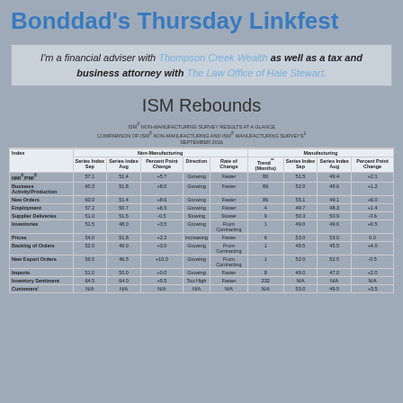Bonddad's Thursday Linkfest
I'm a financial adviser with Thompson Creek Wealth as well as a tax and business attorney with The Law Office of Hale Stewart.
ISM Rebounds
| Index | Series Index Sep | Series Index Aug | Percent Point Change | Direction | Rate of Change | Trend (Months) | Series Index Sep | Series Index Aug | Percent Point Change |
| --- | --- | --- | --- | --- | --- | --- | --- | --- | --- |
| NMI/PMI | 57.1 | 51.4 | +5.7 | Growing | Faster | 80 | 51.5 | 49.4 | +2.1 |
| Business Activity/Production | 60.3 | 51.8 | +8.0 | Growing | Faster | 86 | 52.0 | 49.6 | +1.2 |
| New Orders | 60.0 | 51.4 | +8.6 | Growing | Faster | 86 | 55.1 | 49.1 | +6.0 |
| Employment | 57.2 | 50.7 | +6.5 | Growing | Faster | 4 | 49.7 | 48.3 | +1.4 |
| Supplier Deliveries | 51.0 | 51.5 | -0.5 | Slowing | Slower | 9 | 50.3 | 50.9 | -0.6 |
| Inventories | 51.5 | 48.0 | +3.5 | Growing | From Contracting | 1 | 49.0 | 49.0 | +0.5 |
| Prices | 54.0 | 51.8 | +2.2 | Increasing | Faster | 6 | 53.0 | 53.0 | 0.0 |
| Backlog of Orders | 52.0 | 49.0 | +3.0 | Growing | From Contracting | 1 | 49.5 | 45.5 | +4.0 |
| New Export Orders | 56.5 | 46.5 | +10.0 | Growing | From Contracting | 1 | 52.0 | 52.5 | -0.5 |
| Imports | 51.0 | 50.0 | +0.0 | Growing | Faster | 8 | 49.0 | 47.0 | +2.0 |
| Inventory Sentiment | 64.5 | 64.0 | +0.5 | Too High | Faster | 232 | N/A | N/A | N/A |
| Customers' | N/A | N/A | N/A | N/A | N/A | N/A | 53.0 | 49.5 | +3.5 |